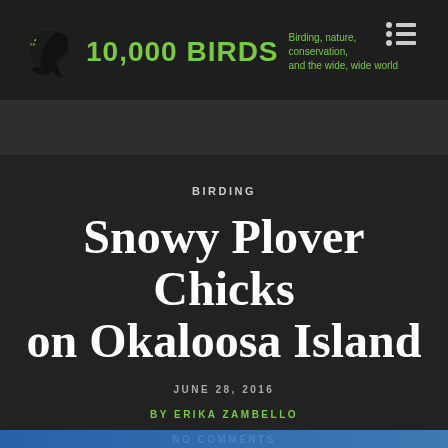[Figure (logo): 10,000 Birds website logo with bird silhouette and green text, plus menu icon and tagline 'Birding, nature, conservation, and the wide, wide world']
BIRDING
Snowy Plover Chicks on Okaloosa Island
JUNE 28, 2016
BY ERIKA ZAMBELLO
NO COMMENTS